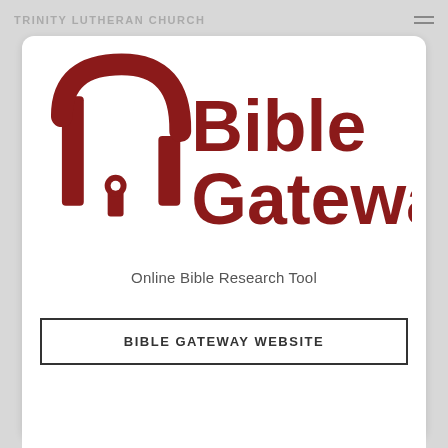TRINITY LUTHERAN CHURCH
[Figure (logo): Bible Gateway logo — dark red arch/lock icon on the left, with 'Bible' on top line and 'Gateway' on bottom line in large dark red bold text]
Online Bible Research Tool
BIBLE GATEWAY WEBSITE